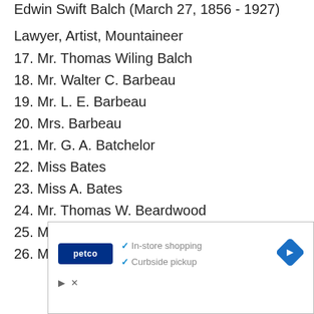Edwin Swift Balch (March 27, 1856 - 1927)
Lawyer, Artist, Mountaineer
17. Mr. Thomas Wiling Balch
18. Mr. Walter C. Barbeau
19. Mr. L. E. Barbeau
20. Mrs. Barbeau
21. Mr. G. A. Batchelor
22. Miss Bates
23. Miss A. Bates
24. Mr. Thomas W. Beardwood
25. Mrs. Beardwood
26. Miss Jennie Beardwood